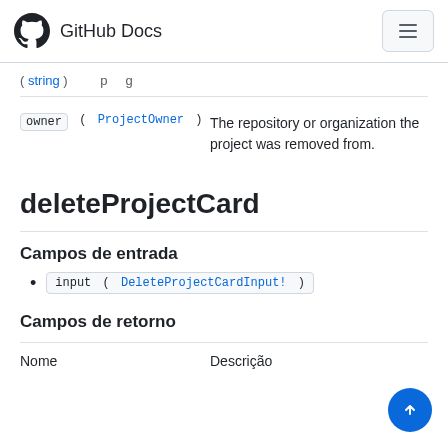GitHub Docs
( [string] ) ... p...g...
owner ( ProjectOwner ) — The repository or organization the project was removed from.
deleteProjectCard
Campos de entrada
input ( DeleteProjectCardInput! )
Campos de retorno
| Nome | Descrição |
| --- | --- |